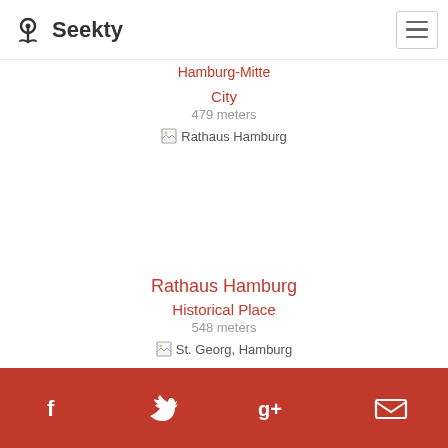Seekty
Hamburg-Mitte
City
479 meters
[Figure (photo): Broken image placeholder labeled Rathaus Hamburg]
Rathaus Hamburg
Historical Place
548 meters
[Figure (photo): Broken image placeholder labeled St. Georg, Hamburg]
Social media icons: Facebook, Twitter, Google+, Email